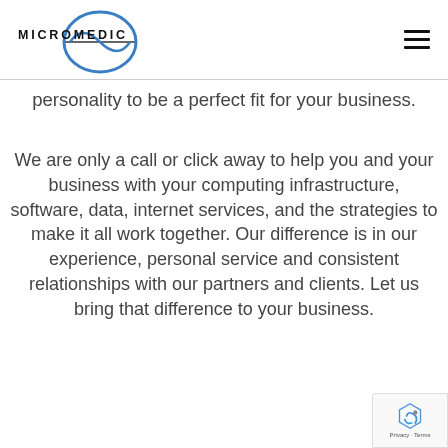MICROMEDIC
personality to be a perfect fit for your business.
We are only a call or click away to help you and your business with your computing infrastructure, software, data, internet services, and the strategies to make it all work together. Our difference is in our experience, personal service and consistent relationships with our partners and clients. Let us bring that difference to your business.
[Figure (logo): reCAPTCHA badge with Privacy and Terms links]